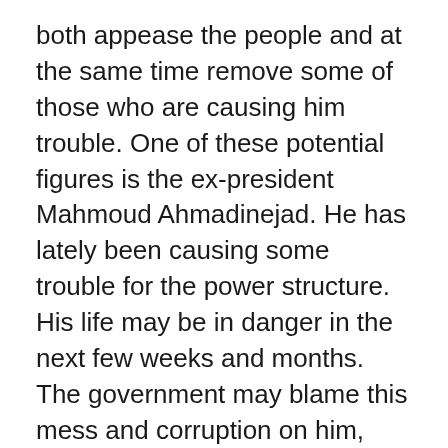both appease the people and at the same time remove some of those who are causing him trouble. One of these potential figures is the ex-president Mahmoud Ahmadinejad. He has lately been causing some trouble for the power structure. His life may be in danger in the next few weeks and months. The government may blame this mess and corruption on him, arrest him, and put him on trial.
What is Iran Alive Doing?
Since the beginning of the protests, we have been broadcasting a special live program at noon CST (prime time in Iran)